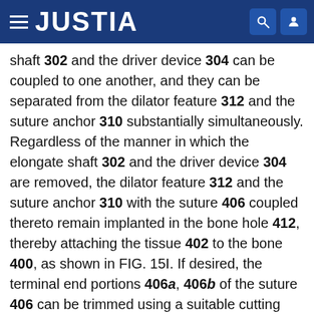JUSTIA
shaft 302 and the driver device 304 can be coupled to one another, and they can be separated from the dilator feature 312 and the suture anchor 310 substantially simultaneously. Regardless of the manner in which the elongate shaft 302 and the driver device 304 are removed, the dilator feature 312 and the suture anchor 310 with the suture 406 coupled thereto remain implanted in the bone hole 412, thereby attaching the tissue 402 to the bone 400, as shown in FIG. 15I. If desired, the terminal end portions 406a, 406b of the suture 406 can be trimmed using a suitable cutting instrument, and FIG. 15I illustrates by way of example the terminal end portions 406a, 406b trimmed. Also, in some embodiments, the terminal end portions 406a, 406b of the suture 406 can be passed through the tissue 402, or the terminal end portions 406a, 406b can be coupled to another suture anchor